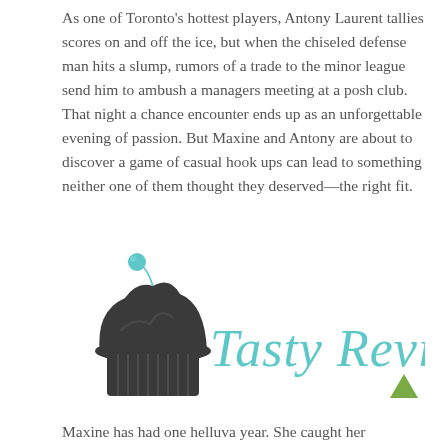As one of Toronto's hottest players, Antony Laurent tallies scores on and off the ice, but when the chiseled defense man hits a slump, rumors of a trade to the minor league send him to ambush a managers meeting at a posh club.
That night a chance encounter ends up as an unforgettable evening of passion. But Maxine and Antony are about to discover a game of casual hook ups can lead to something neither one of them thought they deserved—the right fit.
[Figure (logo): Tasty Review logo: dark grey cupcake with teal cherry on top, next to cursive teal text reading 'Tasty Review']
Maxine has had one helluva year. She caught her